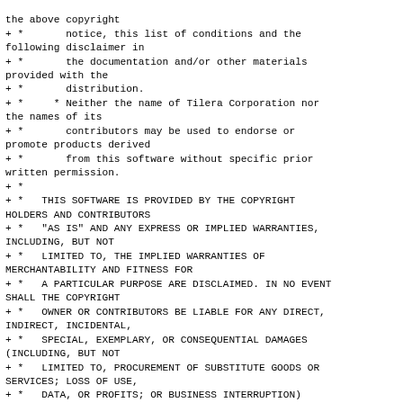the above copyright
+ *       notice, this list of conditions and the following disclaimer in
+ *       the documentation and/or other materials provided with the
+ *       distribution.
+ *     * Neither the name of Tilera Corporation nor the names of its
+ *       contributors may be used to endorse or promote products derived
+ *       from this software without specific prior written permission.
+ *
+ *   THIS SOFTWARE IS PROVIDED BY THE COPYRIGHT HOLDERS AND CONTRIBUTORS
+ *   "AS IS" AND ANY EXPRESS OR IMPLIED WARRANTIES, INCLUDING, BUT NOT
+ *   LIMITED TO, THE IMPLIED WARRANTIES OF MERCHANTABILITY AND FITNESS FOR
+ *   A PARTICULAR PURPOSE ARE DISCLAIMED. IN NO EVENT SHALL THE COPYRIGHT
+ *   OWNER OR CONTRIBUTORS BE LIABLE FOR ANY DIRECT, INDIRECT, INCIDENTAL,
+ *   SPECIAL, EXEMPLARY, OR CONSEQUENTIAL DAMAGES (INCLUDING, BUT NOT
+ *   LIMITED TO, PROCUREMENT OF SUBSTITUTE GOODS OR SERVICES; LOSS OF USE,
+ *   DATA, OR PROFITS; OR BUSINESS INTERRUPTION) HOWEVER CAUSED AND ON ANY
+ *   THEORY OF LIABILITY, WHETHER IN CONTRACT, STRICT